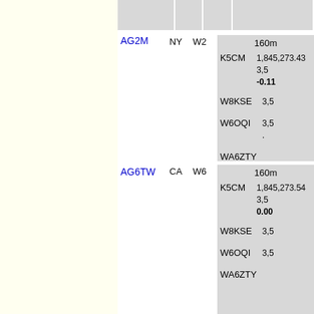| Callsign | State | Band | Station/Data |
| --- | --- | --- | --- |
| AG2M | NY | W2 | 160m | K5CM: 1,845,273.43 / -0.11 | W8KSE: 3,5... | W6OQI: 3,5... / ... | WA6ZTY |
| AG6TW | CA | W6 | 160m | K5CM: 1,845,273.54 / 0.00 | W8KSE: 3,5... | W6OQI: 3,5... | WA6ZTY |